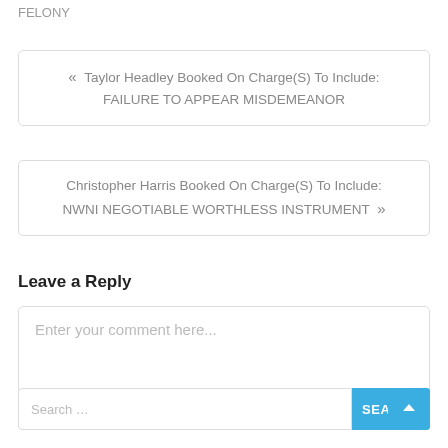FELONY
« Taylor Headley Booked On Charge(S) To Include: FAILURE TO APPEAR MISDEMEANOR
Christopher Harris Booked On Charge(S) To Include: NWNI NEGOTIABLE WORTHLESS INSTRUMENT »
Leave a Reply
Enter your comment here...
Search …